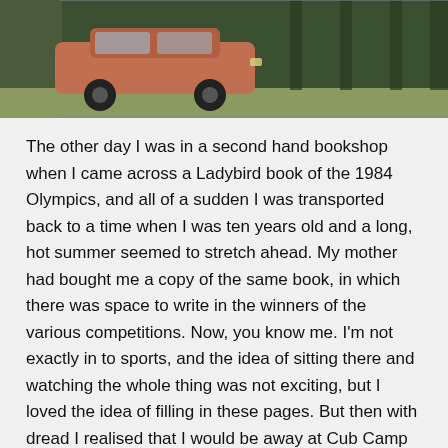[Figure (photo): Partial view of an old reddish-orange car parked in front of a dark green wall or fence, with some grass visible.]
The other day I was in a second hand bookshop when I came across a Ladybird book of the 1984 Olympics, and all of a sudden I was transported back to a time when I was ten years old and a long, hot summer seemed to stretch ahead. My mother had bought me a copy of the same book, in which there was space to write in the winners of the various competitions. Now, you know me. I'm not exactly in to sports, and the idea of sitting there and watching the whole thing was not exciting, but I loved the idea of filling in these pages. But then with dread I realised that I would be away at Cub Camp for the first week of the Olympics and I would miss all the action. The joy of filling in all the blank pages would be denied and the book would never be complete.
I was not looking forward to Cub Camp. It would be the